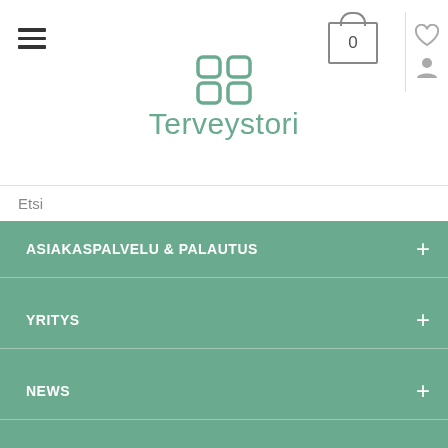[Figure (logo): Terveystori brand logo with four-square flower icon in teal/green color and store name text]
Etsi
ASIAKASPALVELU & PALAUTUS
YRITYS
NEWS
OMA TILI
OSTOSKORI